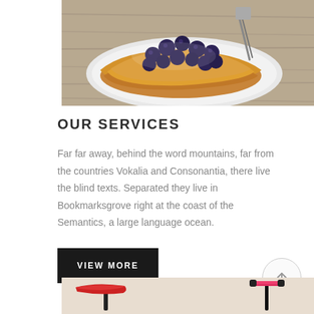[Figure (photo): Photo of crepes/pancakes topped with blueberries on a white plate, on a wooden table background]
OUR SERVICES
Far far away, behind the word mountains, far from the countries Vokalia and Consonantia, there live the blind texts. Separated they live in Bookmarksgrove right at the coast of the Semantics, a large language ocean.
VIEW MORE
[Figure (photo): Partial photo of a red children's bicycle showing the saddle and handlebars against a light beige background]